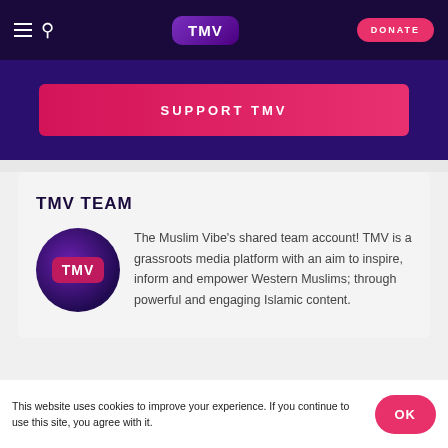TMV — DONATE
[Figure (logo): TMV (The Muslim Vibe) navigation bar with hamburger menu, search icon, TMV logo, and DONATE button on dark purple background]
[Figure (infographic): SUPPORT TMV pink banner button on dark purple background]
TMV TEAM
[Figure (logo): TMV circular logo with purple gradient background and pink rounded rectangle TMV label]
The Muslim Vibe's shared team account! TMV is a grassroots media platform with an aim to inspire, inform and empower Western Muslims; through powerful and engaging Islamic content.
This website uses cookies to improve your experience. If you continue to use this site, you agree with it. OK